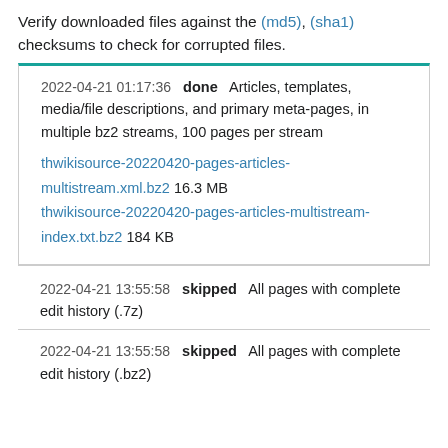Verify downloaded files against the (md5), (sha1) checksums to check for corrupted files.
2022-04-21 01:17:36   done   Articles, templates, media/file descriptions, and primary meta-pages, in multiple bz2 streams, 100 pages per stream
thwikisource-20220420-pages-articles-multistream.xml.bz2 16.3 MB
thwikisource-20220420-pages-articles-multistream-index.txt.bz2 184 KB
2022-04-21 13:55:58   skipped   All pages with complete edit history (.7z)
2022-04-21 13:55:58   skipped   All pages with complete edit history (.bz2)